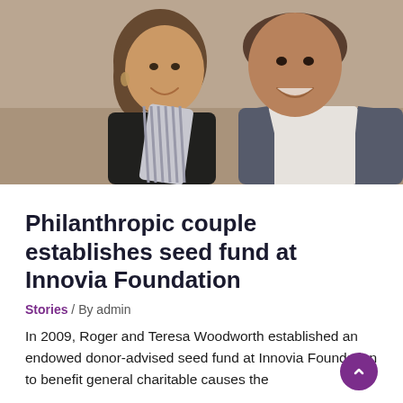[Figure (photo): A smiling couple posing together; a woman with short brown hair and a striped scarf, and a man in a grey suit jacket and white shirt.]
Philanthropic couple establishes seed fund at Innovia Foundation
Stories / By admin
In 2009, Roger and Teresa Woodworth established an endowed donor-advised seed fund at Innovia Foundation to benefit general charitable causes the